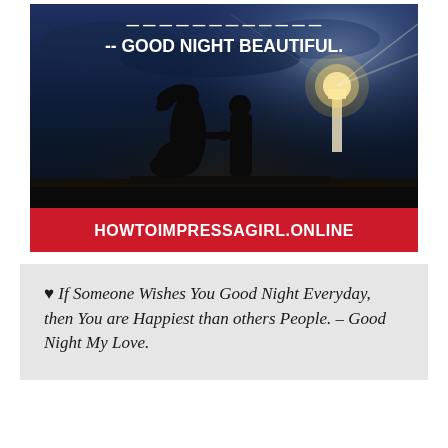[Figure (illustration): Night scene with two silhouetted figures holding hands on a beach or dock, with a lighthouse glowing in the background. Text overlay reads '--GOOD NIGHT BEAUTIFUL.' in white bold uppercase letters. Red banner at bottom reads 'HOWTOIMPRESSAGIRL.ONLINE'.]
♥ If Someone Wishes You Good Night Everyday, then You are Happiest than others People. – Good Night My Love.